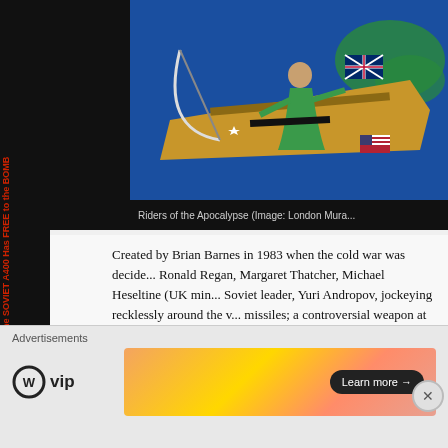[Figure (illustration): Painting titled 'Riders of the Apocalypse' showing a figure in green robes riding a boat/craft with flags including British Union Jack and American flag, on a blue background with world map elements.]
Riders of the Apocalypse (Image: London Mura...
Created by Brian Barnes in 1983 when the cold war was decided Ronald Regan, Margaret Thatcher, Michael Heseltine (UK min... Soviet leader, Yuri Andropov, jockeying recklessly around the v... missiles; a controversial weapon at the time due to its deploym... bases Greenham Common and Molesworth.
The mural was a sequel to another of Brian Barnes' south L...
Advertisements
[Figure (logo): WordPress VIP logo - circle with W and 'vip' text]
[Figure (illustration): Orange/peach gradient advertisement banner with 'Learn more' button]